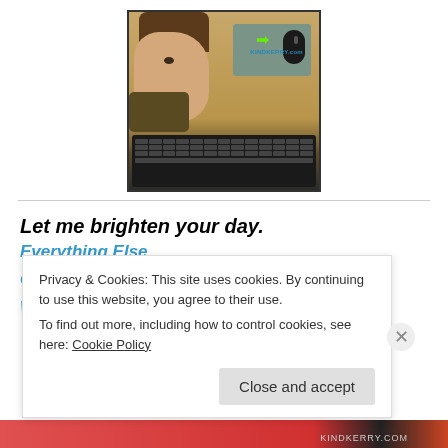[Figure (photo): Photo of a young woman with brown hair at a desk with a keyboard and mouse, mousepad showing 'KINDKERRY.com' with green arrow]
Let me brighten your day.
Everything Else
Good Morning Beloved
Weekly Dose Post
Privacy & Cookies: This site uses cookies. By continuing to use this website, you agree to their use.
To find out more, including how to control cookies, see here: Cookie Policy